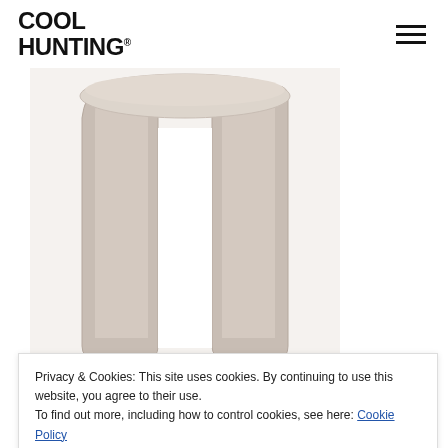COOL HUNTING®
[Figure (photo): Close-up photo of a modern beige/taupe upholstered stool or side table with thick rounded legs and flat top, photographed against a white background]
Part of this third gathering of products, the eye-catching
Privacy & Cookies: This site uses cookies. By continuing to use this website, you agree to their use.
To find out more, including how to control cookies, see here: Cookie Policy
Close and accept
expanses of flat color. Cunningly specced in a heavy duty